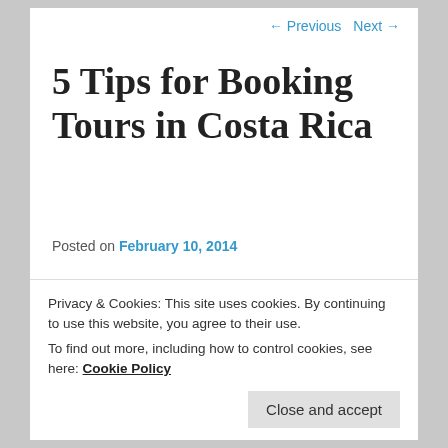← Previous   Next →
5 Tips for Booking Tours in Costa Rica
Posted on February 10, 2014
Over the past week or so Shaun and I have been travelling in La Fortuna, and Monteverde, some of the busiest tourist towns in all of Costa Rica.
Privacy & Cookies: This site uses cookies. By continuing to use this website, you agree to their use.
To find out more, including how to control cookies, see here: Cookie Policy
Close and accept